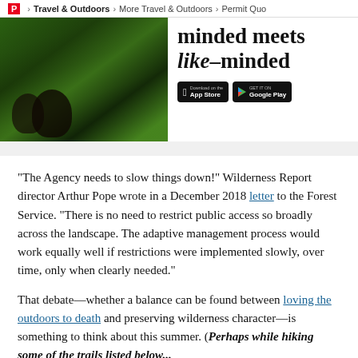P > Travel & Outdoors > More Travel & Outdoors > Permit Quo
[Figure (photo): Two people lying in green grass, one with blue face paint, editorial nature photo]
minded meets like-minded
[Figure (screenshot): App Store and Google Play download buttons]
“The Agency needs to slow things down!” Wilderness Report director Arthur Pope wrote in a December 2018 letter to the Forest Service. “There is no need to restrict public access so broadly across the landscape. The adaptive management process would work equally well if restrictions were implemented slowly, over time, only when clearly needed.”
That debate—whether a balance can be found between loving the outdoors to death and preserving wilderness character—is something to think about this summer. (Perhaps while hiking some of the trails listed below...